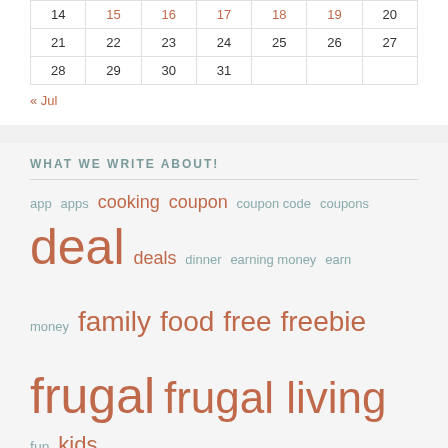| Sun | Mon | Tue | Wed | Thu | Fri | Sat |
| --- | --- | --- | --- | --- | --- | --- |
| 14 | 15 | 16 | 17 | 18 | 19 | 20 |
| 21 | 22 | 23 | 24 | 25 | 26 | 27 |
| 28 | 29 | 30 | 31 |  |  |  |
« Jul
WHAT WE WRITE ABOUT!
app apps cooking coupon coupon code coupons deal deals dinner earning money earn money family food free freebie frugal frugal living fun kids